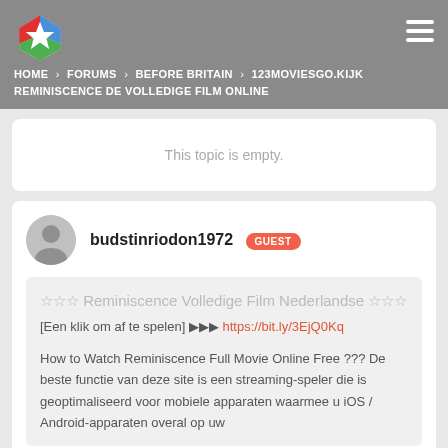HOME › FORUMS › BEFORE BRITAIN › 123MOVIESGO.KIJK REMINISCENCE DE VOLLEDIGE FILM ONLINE
This topic is empty.
budstinriodon1972 GUEST
☆☆☆ Reminiscence Volledige Film Nederlandse ☆☆☆
[Een klik om af te spelen] ▶▶▶ https://bit.ly/3EjQ0Kq

How to Watch Reminiscence Full Movie Online Free ??? De beste functie van deze site is een streaming-speler die is geoptimaliseerd voor mobiele apparaten waarmee u iOS / Android-apparaten overal op uw